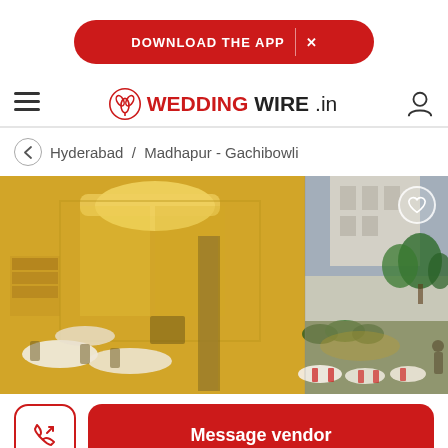DOWNLOAD THE APP  ×
[Figure (logo): WeddingWire.in logo with red tulip icon]
Hyderabad / Madhapur - Gachibowli
[Figure (photo): Wedding venue photo showing an indoor banquet hall lit in yellow/gold lighting with dining tables on the left, and an outdoor garden reception area with white-clothed tables on the right]
Message vendor